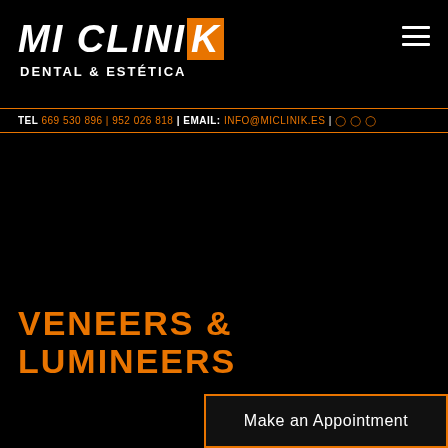MI CLINIК - DENTAL & ESTÉTICA
TEL 669 530 896 | 952 026 818 | EMAIL: info@miclinik.es
VENEERS & LUMINEERS
Make an Appointment